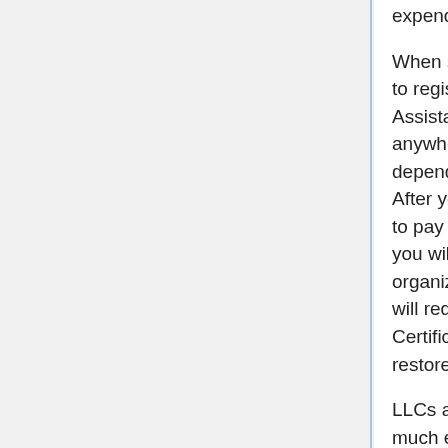expenditures.
When setting up an LLC, you will require to register it at the Workplace of the Assistant of State. This can take anywhere from 2 weeks to ninety days depending upon the state guidelines. After you sign up, you will certainly need to pay the charge to the state and then you will be able to operate your organization. To run your business, you will require to acquire a Service Certificate. Company licenses can be restored after the term has ended.
LLCs are popular as they do not call for much expenses such as tax obligations. You will be able to deduct expenditures such as your regular earnings tax which is based upon your personal income. The business will only pay the suitable taxes on the earnings that it makes.